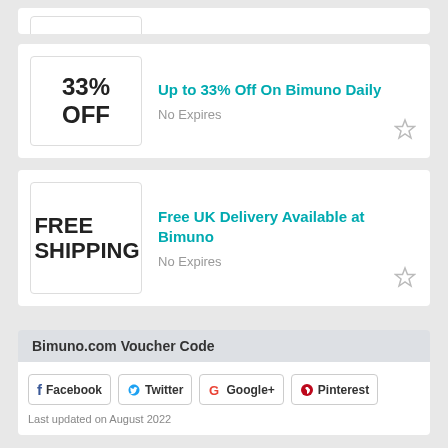[Figure (other): Partial coupon card visible at top of page]
Up to 33% Off On Bimuno Daily
No Expires
Free UK Delivery Available at Bimuno
No Expires
Bimuno.com Voucher Code
Facebook Twitter Google+ Pinterest
Last updated on August 2022